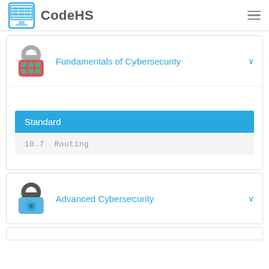CodeHS
Fundamentals of Cybersecurity
Standard
10.7  Routing
Advanced Cybersecurity